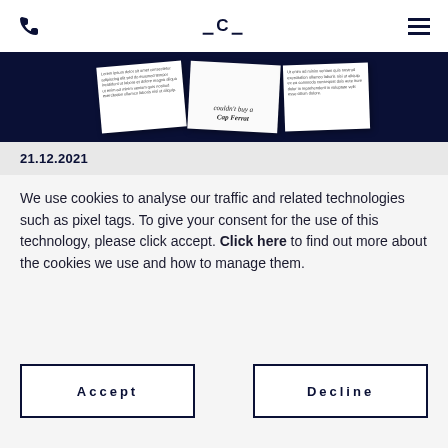phone icon | =C= logo | menu icon
[Figure (photo): Dark navy banner with overlapping white document/card images fanned out, one card reads 'couldn't buy a Cap Ferrat']
21.12.2021
We use cookies to analyse our traffic and related technologies such as pixel tags. To give your consent for the use of this technology, please click accept. Click here to find out more about the cookies we use and how to manage them.
Accept
Decline